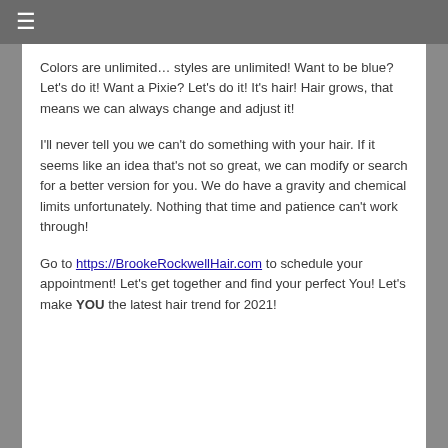≡
Colors are unlimited… styles are unlimited!  Want to be blue? Let's do it! Want a Pixie? Let's do it!  It's hair! Hair grows, that means we can always change and adjust it!
I'll never tell you we can't do something with your hair. If it seems like an idea that's not so great, we can modify or search for a better version for you.  We do have a gravity and chemical limits unfortunately.  Nothing that time and patience can't work through!
Go to https://BrookeRockwellHair.com to schedule your appointment! Let's get together and find your perfect You! Let's make YOU the latest hair trend for 2021!